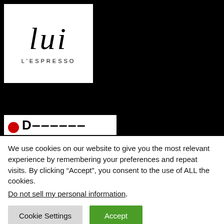[Figure (logo): lui L'ESPRESSO logo — stylized handwritten lowercase 'lui' with serif styling above the text L'ESPRESSO in spaced capitals]
[Figure (screenshot): Partial screenshot of another website showing a red circular icon and partial bold text beginning with 'D']
We use cookies on our website to give you the most relevant experience by remembering your preferences and repeat visits. By clicking “Accept”, you consent to the use of ALL the cookies.
Do not sell my personal information.
Cookie Settings
Accept